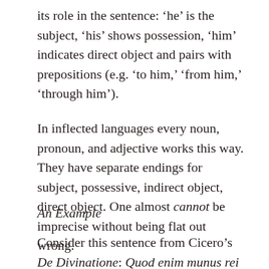its role in the sentence: ‘he’ is the subject, ‘his’ shows possession, ‘him’ indicates direct object and pairs with prepositions (e.g. ‘to him,’ ‘from him,’ ‘through him’).
In inflected languages every noun, pronoun, and adjective works this way. They have separate endings for subject, possessive, indirect object, direct object. One almost cannot be imprecise without being flat out wrong.
An Example
Consider this sentence from Cicero’s De Divinatione: Quod enim munus rei publicae adferre